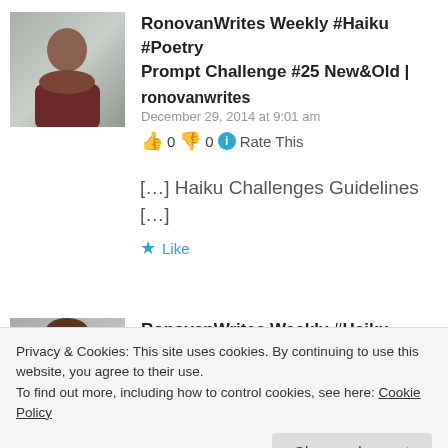[Figure (photo): Avatar photo of a man in a dark red shirt against a grey background]
RonovanWrites Weekly #Haiku #Poetry Prompt Challenge #25 New&Old | ronovanwrites
December 29, 2014 at 9:01 am
👍 0 👎 0 ℹ Rate This
[…] Haiku Challenges Guidelines […]
★ Like
[Figure (photo): Avatar photo of a woman against a grey background]
RonovanWrites Weekly #Haiku #Poetry
Privacy & Cookies: This site uses cookies. By continuing to use this website, you agree to their use.
To find out more, including how to control cookies, see here: Cookie Policy
Close and accept
[…] Haiku Challenges Guidolines […]